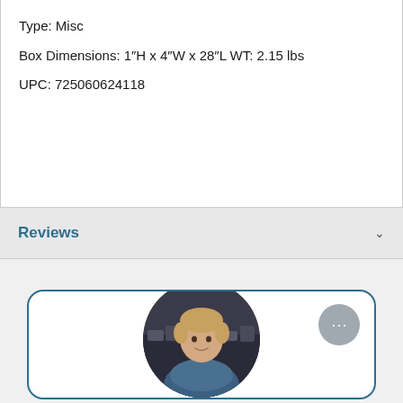Type: Misc
Box Dimensions: 1"H x 4"W x 28"L WT: 2.15 lbs
UPC: 725060624118
Reviews
[Figure (photo): A circular profile photo of a young man with light brown hair, partially visible at the bottom of a rounded card element. A gray circular chat button with ellipsis icon appears in the upper right of the card.]